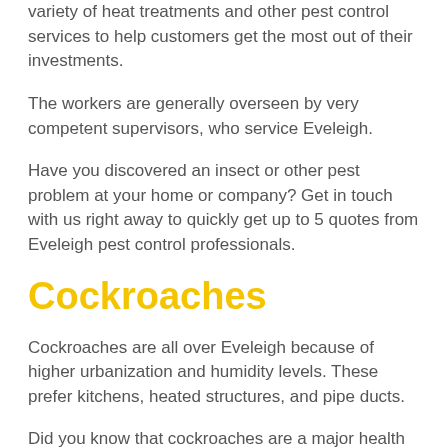variety of heat treatments and other pest control services to help customers get the most out of their investments.
The workers are generally overseen by very competent supervisors, who service Eveleigh.
Have you discovered an insect or other pest problem at your home or company? Get in touch with us right away to quickly get up to 5 quotes from Eveleigh pest control professionals.
Cockroaches
Cockroaches are all over Eveleigh because of higher urbanization and humidity levels. These prefer kitchens, heated structures, and pipe ducts.
Did you know that cockroaches are a major health hazard in